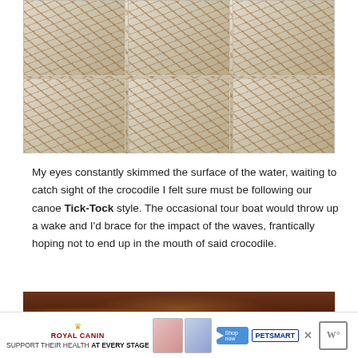[Figure (photo): Close-up overhead photo of toasted coconut squares/bars cut into pieces on parchment paper, showing golden-brown toasted coconut flakes on white frosting or marshmallow surface]
My eyes constantly skimmed the surface of the water, waiting to catch sight of the crocodile I felt sure must be following our canoe Tick-Tock style. The occasional tour boat would throw up a wake and I'd brace for the impact of the waves, frantically hoping not to end up in the mouth of said crocodile.
[Figure (photo): Close-up photo of a chocolate dessert or candy mixture in a pan, showing dark brown chocolate with pieces of nuts or other mix-ins]
[Figure (photo): Royal Canin advertisement banner: SUPPORT THEIR HEALTH AT EVERY STAGE with pet food product images and PetSmart logo]